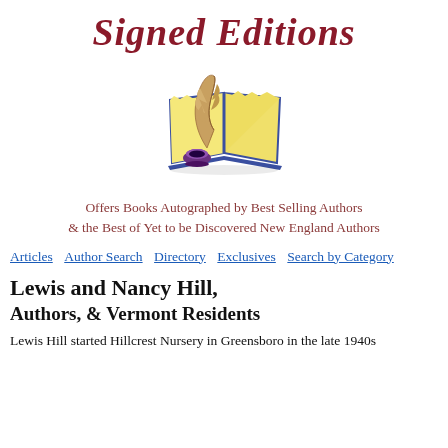Signed Editions
[Figure (illustration): Illustration of an open book with a quill pen and inkwell]
Offers Books Autographed by Best Selling Authors & the Best of Yet to be Discovered New England Authors
Articles  Author Search  Directory  Exclusives  Search by Category
Lewis and Nancy Hill, Authors, & Vermont Residents
Lewis Hill started Hillcrest Nursery in Greensboro in the late 1940s